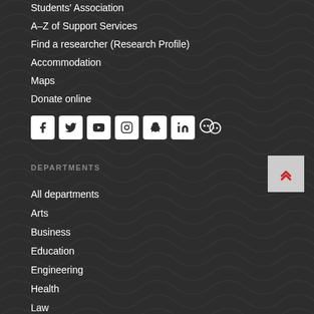Students' Association
A–Z of Support Services
Find a researcher (Research Profile)
Accommodation
Maps
Donate online
[Figure (infographic): Row of social media icons: Facebook, Twitter, YouTube, Instagram, Snapchat, LinkedIn, WeChat]
DEPARTMENTS
All departments
Arts
Business
Education
Engineering
Health
Law
Science